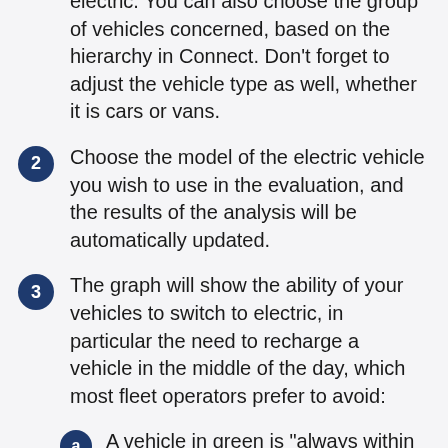electric. You can also choose the group of vehicles concerned, based on the hierarchy in Connect. Don't forget to adjust the vehicle type as well, whether it is cars or vans.
2 Choose the model of the electric vehicle you wish to use in the evaluation, and the results of the analysis will be automatically updated.
3 The graph will show the ability of your vehicles to switch to electric, in particular the need to recharge a vehicle in the middle of the day, which most fleet operators prefer to avoid:
a A vehicle in green is "always within range": there would have been no occasion during the chosen period when this